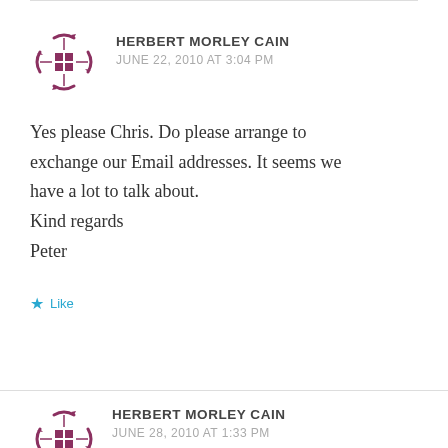HERBERT MORLEY CAIN
JUNE 22, 2010 AT 3:04 PM
Yes please Chris. Do please arrange to exchange our Email addresses. It seems we have a lot to talk about.
Kind regards
Peter
Like
HERBERT MORLEY CAIN
JUNE 28, 2010 AT 1:33 PM